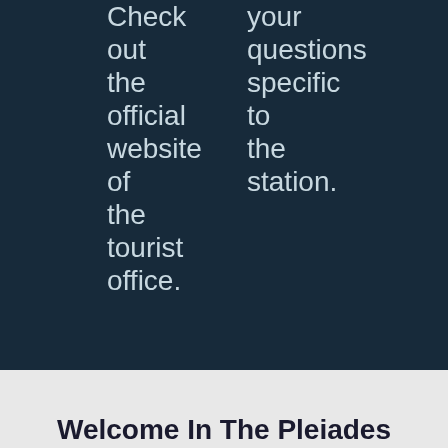Check out the official website of the tourist office.
your questions specific to the station.
Welcome In The Pleiades